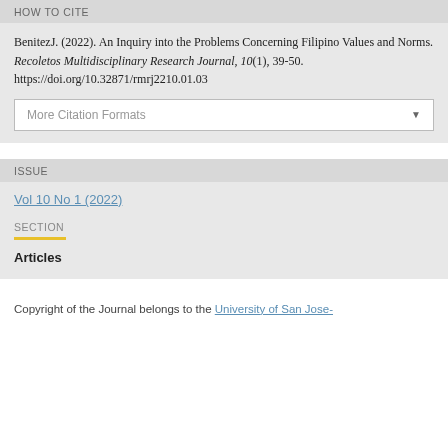HOW TO CITE
BenitezJ. (2022). An Inquiry into the Problems Concerning Filipino Values and Norms. Recoletos Multidisciplinary Research Journal, 10(1), 39-50. https://doi.org/10.32871/rmrj2210.01.03
ISSUE
Vol 10 No 1 (2022)
SECTION
Articles
Copyright of the Journal belongs to the University of San Jose-